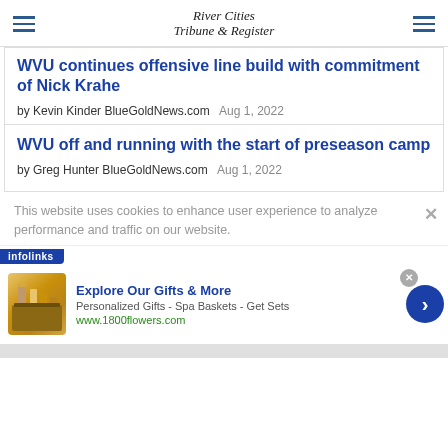River Cities Tribune & Register
WVU continues offensive line build with commitment of Nick Krahe
by Kevin Kinder BlueGoldNews.com  Aug 1, 2022
WVU off and running with the start of preseason camp
by Greg Hunter BlueGoldNews.com  Aug 1, 2022
This website uses cookies to enhance user experience to analyze performance and traffic on our website.
[Figure (infographic): Infolinks ad label bar and 1800flowers advertisement banner with gift basket image, headline 'Explore Our Gifts & More', subtext 'Personalized Gifts - Spa Baskets - Get Sets', URL 'www.1800flowers.com', blue arrow button, and close button]